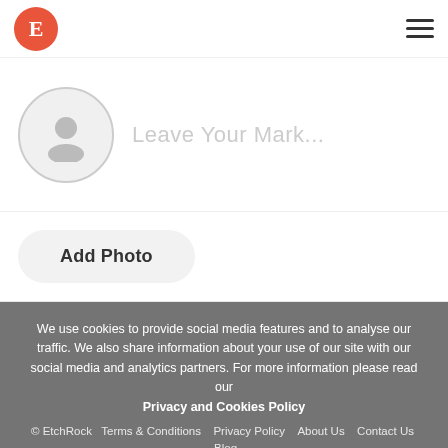[Figure (logo): EtchRock orange circular logo with white letter E]
[Figure (illustration): Hamburger menu icon (three horizontal bars)]
[Figure (illustration): Grey circular avatar placeholder with person silhouette icon]
Leave Your Mark...
Add Photo
We use cookies to provide social media features and to analyse our traffic. We also share information about your use of our site with our social media and analytics partners. For more information please read our Privacy and Cookies Policy
© EtchRock   Terms & Conditions   Privacy Policy   About Us   Contact Us   Blog
I Agree